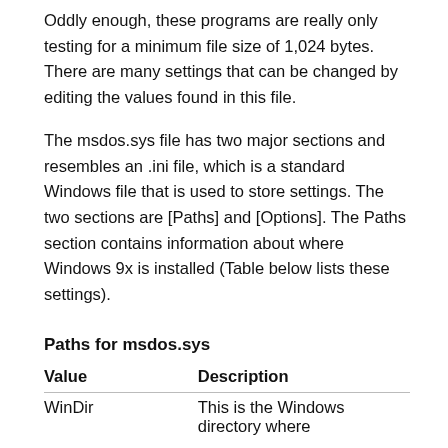Oddly enough, these programs are really only testing for a minimum file size of 1,024 bytes. There are many settings that can be changed by editing the values found in this file.
The msdos.sys file has two major sections and resembles an .ini file, which is a standard Windows file that is used to store settings. The two sections are [Paths] and [Options]. The Paths section contains information about where Windows 9x is installed (Table below lists these settings).
Paths for msdos.sys
| Value | Description |
| --- | --- |
| WinDir | This is the Windows directory where... |